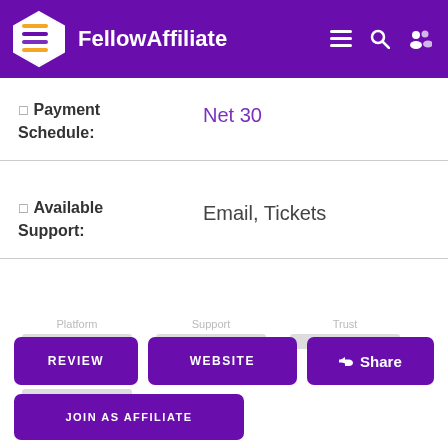FellowAffiliate
Payment Schedule: Net 30
Available Support: Email, Tickets
[Figure (other): Blurred rating bars for Platform, Support, Trust, and Value categories]
REVIEW | WEBSITE | Share | JOIN AS AFFILIATE